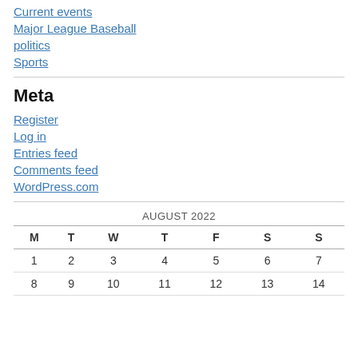Current events
Major League Baseball
politics
Sports
Meta
Register
Log in
Entries feed
Comments feed
WordPress.com
| M | T | W | T | F | S | S |
| --- | --- | --- | --- | --- | --- | --- |
| 1 | 2 | 3 | 4 | 5 | 6 | 7 |
| 8 | 9 | 10 | 11 | 12 | 13 | 14 |